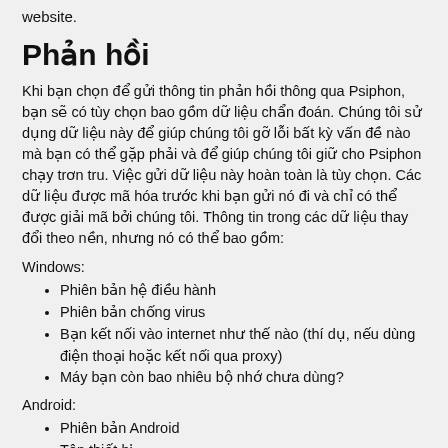website.
Phản hồi
Khi bạn chọn để gửi thông tin phản hồi thông qua Psiphon, bạn sẽ có tùy chọn bao gồm dữ liệu chẩn đoán. Chúng tôi sử dụng dữ liệu này để giúp chúng tôi gỡ lỗi bất kỳ vấn đề nào mà bạn có thể gặp phải và để giúp chúng tôi giữ cho Psiphon chạy trơn tru. Việc gửi dữ liệu này hoàn toàn là tùy chọn. Các dữ liệu được mã hóa trước khi bạn gửi nó đi và chỉ có thể được giải mã bởi chúng tôi. Thông tin trong các dữ liệu thay đổi theo nền, nhưng nó có thể bao gồm:
Windows:
Phiên bản hệ điều hành
Phiên bản chống virus
Bạn kết nối vào internet như thế nào (thí dụ, nếu dùng điện thoại hoặc kết nối qua proxy)
Máy bạn còn bao nhiêu bộ nhớ chưa dùng?
Android:
Phiên bản Android
Tên thiết bị